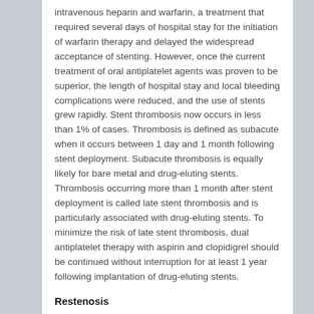intravenous heparin and warfarin, a treatment that required several days of hospital stay for the initiation of warfarin therapy and delayed the widespread acceptance of stenting. However, once the current treatment of oral antiplatelet agents was proven to be superior, the length of hospital stay and local bleeding complications were reduced, and the use of stents grew rapidly. Stent thrombosis now occurs in less than 1% of cases. Thrombosis is defined as subacute when it occurs between 1 day and 1 month following stent deployment. Subacute thrombosis is equally likely for bare metal and drug-eluting stents. Thrombosis occurring more than 1 month after stent deployment is called late stent thrombosis and is particularly associated with drug-eluting stents. To minimize the risk of late stent thrombosis, dual antiplatelet therapy with aspirin and clopidigrel should be continued without interruption for at least 1 year following implantation of drug-eluting stents.
Restenosis